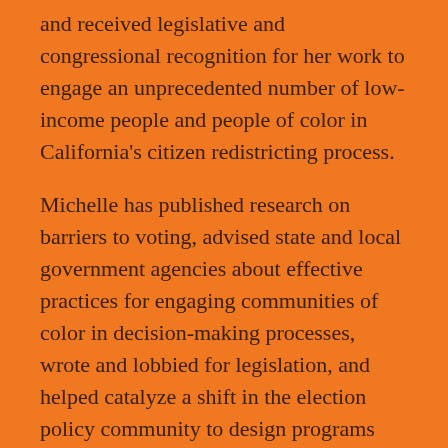and received legislative and congressional recognition for her work to engage an unprecedented number of low-income people and people of color in California's citizen redistricting process.

Michelle has published research on barriers to voting, advised state and local government agencies about effective practices for engaging communities of color in decision-making processes, wrote and lobbied for legislation, and helped catalyze a shift in the election policy community to design programs that are user-centered.  Michelle's work has been featured from the prominent stages of Netroots Nation and the California Democratic Convention, to media outlets like the San Francisco Chronicle, Los Angeles Times, KQED Newsroom, and ABC News. Michelle holds